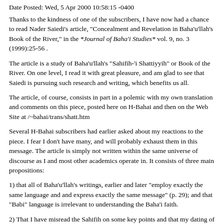Date Posted: Wed, 5 Apr 2000 10:58:15 -0400
Thanks to the kindness of one of the subscribers, I have now had a chance to read Nader Saiedi's article, "Concealment and Revelation in Baha'u'llah's Book of the River," in the *Journal of Baha'i Studies* vol. 9, no. 3 (1999):25-56 .
The article is a study of Baha'u'llah's "Sahifih-'i Shattiyyih" or Book of the River. On one level, I read it with great pleasure, and am glad to see that Saiedi is pursuing such research and writing, which benefits us all.
The article, of course, consists in part in a polemic with my own translation and comments on this piece, posted here on H-Bahai and then on the Web Site at /~bahai/trans/shatt.htm
Several H-Bahai subscribers had earlier asked about my reactions to the piece. I fear I don't have many, and will probably exhaust them in this message. The article is simply not written within the same universe of discourse as I and most other academics operate in. It consists of three main propositions:
1) that all of Baha'u'llah's writings, earlier and later "employ exactly the same language and and express exactly the same message" (p. 29); and that "Babi" language is irrelevant to understanding the Baha'i faith.
2) That I have misread the Sahifih on some key points and that my dating of it is unsound
3) That Baha'u'llah's later writings of the Akka period can be used to demonstrate the complete continuity and unchanging character of his revelation right from